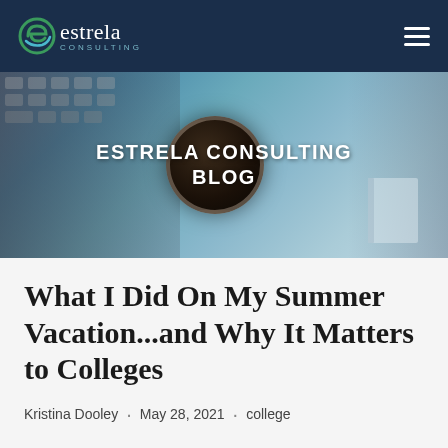[Figure (logo): Estrela Consulting logo with green circular icon and white text on dark navy background]
[Figure (photo): Blog banner image showing a desk with a laptop keyboard, coffee cup, and notebook on a blue wooden surface. Text overlay reads ESTRELA CONSULTING BLOG in bold white uppercase letters.]
What I Did On My Summer Vacation...and Why It Matters to Colleges
Kristina Dooley · May 28, 2021 · college